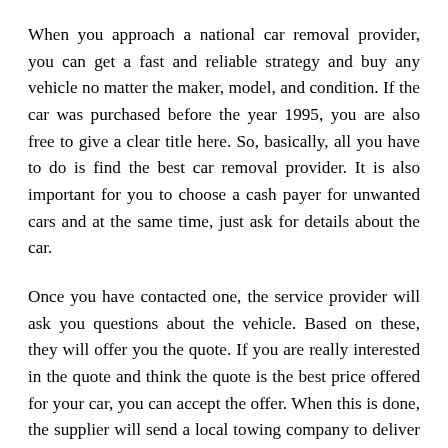When you approach a national car removal provider, you can get a fast and reliable strategy and buy any vehicle no matter the maker, model, and condition. If the car was purchased before the year 1995, you are also free to give a clear title here. So, basically, all you have to do is find the best car removal provider. It is also important for you to choose a cash payer for unwanted cars and at the same time, just ask for details about the car.
Once you have contacted one, the service provider will ask you questions about the vehicle. Based on these, they will offer you the quote. If you are really interested in the quote and think the quote is the best price offered for your car, you can accept the offer. When this is done, the supplier will send a local towing company to deliver the car and pay the cost in accordance with the agreement. The whole process is very easy and will help you get rid of your